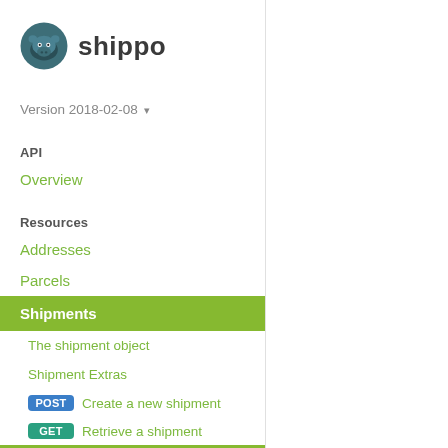[Figure (logo): Shippo logo: dark teal hippo icon with the text 'shippo' in dark gray]
Version 2018-02-08 ▾
API
Overview
Resources
Addresses
Parcels
Shipments
The shipment object
Shipment Extras
POST  Create a new shipment
GET  Retrieve a shipment
GET  List all shipments